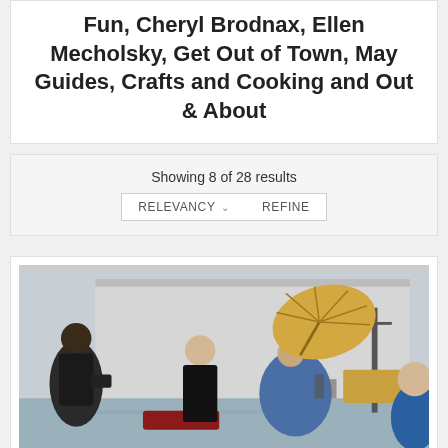Fun, Cheryl Brodnax, Ellen Mecholsky, Get Out of Town, May Guides, Crafts and Cooking and Out & About
Showing 8 of 28 results
[Figure (photo): Outdoor flood scene with people in a boat. A woman in a blue rain poncho holds a yellow umbrella being blown by wind. A man in a black outfit stands behind her, and another person in dark clothing is on the left. The background shows a flooded parking lot with a large building and utility poles.]